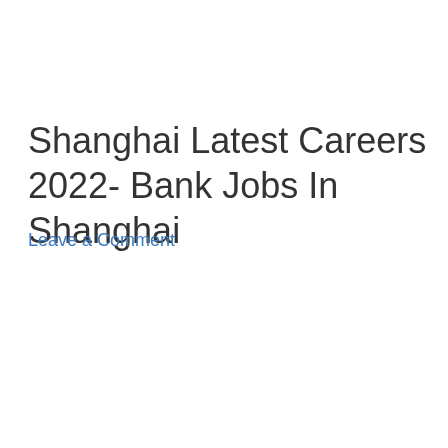Shanghai Latest Careers 2022- Bank Jobs In Shanghai
Leave a Comment